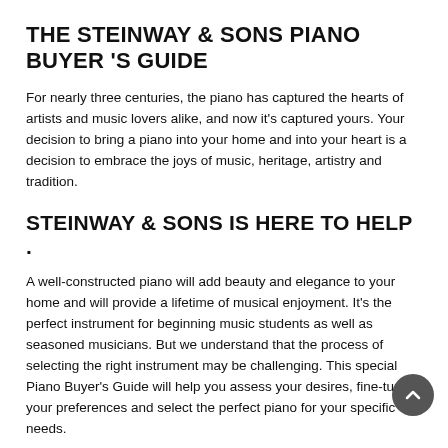THE STEINWAY & SONS PIANO BUYER 'S GUIDE
For nearly three centuries, the piano has captured the hearts of artists and music lovers alike, and now it's captured yours. Your decision to bring a piano into your home and into your heart is a decision to embrace the joys of music, heritage, artistry and tradition.
STEINWAY & SONS IS HERE TO HELP .
A well-constructed piano will add beauty and elegance to your home and will provide a lifetime of musical enjoyment. It's the perfect instrument for beginning music students as well as seasoned musicians. But we understand that the process of selecting the right instrument may be challenging. This special Piano Buyer's Guide will help you assess your desires, fine-tune your preferences and select the perfect piano for your specific needs.